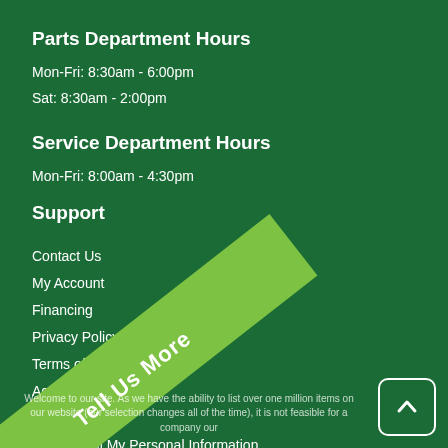Parts Department Hours
Mon-Fri: 8:30am - 6:00pm
Sat: 8:30am - 2:00pm
Service Department Hours
Mon-Fri: 8:00am - 4:30pm
Support
Contact Us
My Account
Financing
Privacy Policy
Terms of Service
Accessibility
Map
Do Not Sell My Personal Information
[Figure (illustration): Diagonal green ribbon banner with 'Tell Us More' text]
Welcome to our site. As we have the ability to list over one million items on our website (our selection changes all of the time), it is not feasible for a company our